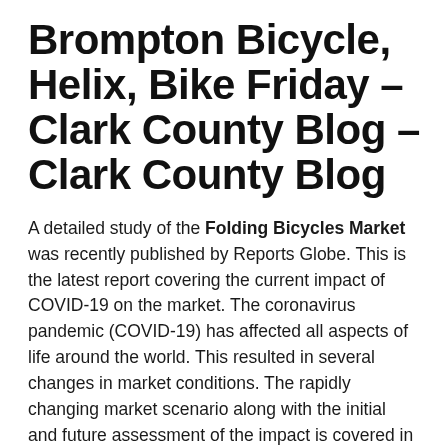Brompton Bicycle, Helix, Bike Friday – Clark County Blog – Clark County Blog
A detailed study of the Folding Bicycles Market was recently published by Reports Globe. This is the latest report covering the current impact of COVID-19 on the market. The coronavirus pandemic (COVID-19) has affected all aspects of life around the world. This resulted in several changes in market conditions. The rapidly changing market scenario along with the initial and future assessment of the impact is covered in the report. The report provides a brief analysis of the overall of the main influencing...